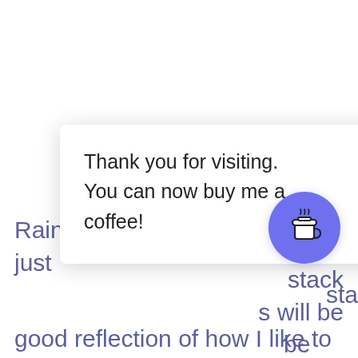Rainbow Charms is a quilt I just stack s will be be is
Thank you for visiting. You can now buy me a coffee!
good reflection of how I like to
[Figure (illustration): Buy me a coffee circular button with a coffee cup icon in white on a purple/blue background]